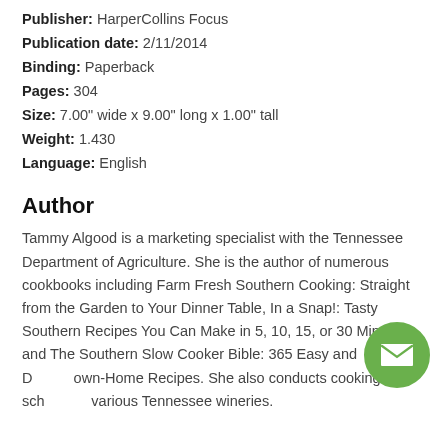Publisher: HarperCollins Focus
Publication date: 2/11/2014
Binding: Paperback
Pages: 304
Size: 7.00" wide x 9.00" long x 1.00" tall
Weight: 1.430
Language: English
Author
Tammy Algood is a marketing specialist with the Tennessee Department of Agriculture. She is the author of numerous cookbooks including Farm Fresh Southern Cooking: Straight from the Garden to Your Dinner Table, In a Snap!: Tasty Southern Recipes You Can Make in 5, 10, 15, or 30 Minutes, and The Southern Slow Cooker Bible: 365 Easy and Down-Home Recipes. She also conducts cooking schools at various Tennessee wineries.
[Figure (other): Green circular email/envelope button icon in the bottom-right area]